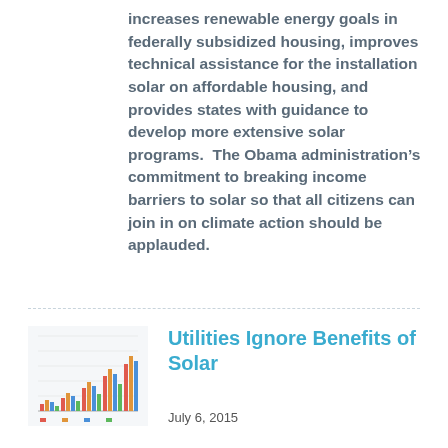increases renewable energy goals in federally subsidized housing, improves technical assistance for the installation solar on affordable housing, and provides states with guidance to develop more extensive solar programs.  The Obama administration's commitment to breaking income barriers to solar so that all citizens can join in on climate action should be applauded.
[Figure (bar-chart): Thumbnail bar chart image showing grouped colored bars (red, orange, blue, green) growing in height, representing solar-related data.]
Utilities Ignore Benefits of Solar
July 6, 2015